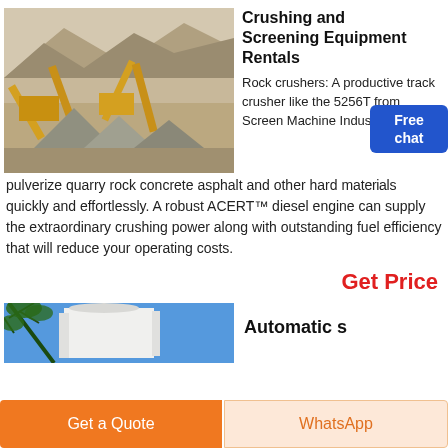[Figure (photo): Crushing and screening equipment at a quarry site — yellow conveyors, gravel piles, rocky hillside background]
Crushing and Screening Equipment Rentals
Rock crushers: A productive track crusher like the 5256T from Screen Machine Industries can pulverize quarry rock concrete asphalt and other hard materials quickly and effortlessly. A robust ACERT™ diesel engine can supply the extraordinary crushing power along with outstanding fuel efficiency that will reduce your operating costs.
Get Price
[Figure (photo): Industrial building or plant with blue sky and tree branches in foreground]
Automatic s
Get a Quote
WhatsApp